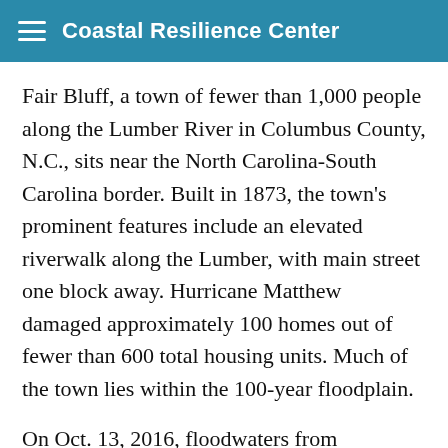Coastal Resilience Center
Fair Bluff, a town of fewer than 1,000 people along the Lumber River in Columbus County, N.C., sits near the North Carolina–South Carolina border. Built in 1873, the town's prominent features include an elevated riverwalk along the Lumber, with main street one block away. Hurricane Matthew damaged approximately 100 homes out of fewer than 600 total housing units. Much of the town lies within the 100-year floodplain.
On Oct. 13, 2016, floodwaters from Hurricane Matthew moved downstream toward the eastern coast of North Carolina, causing the Lumber River to approximately 15 feet. The North Carolina State